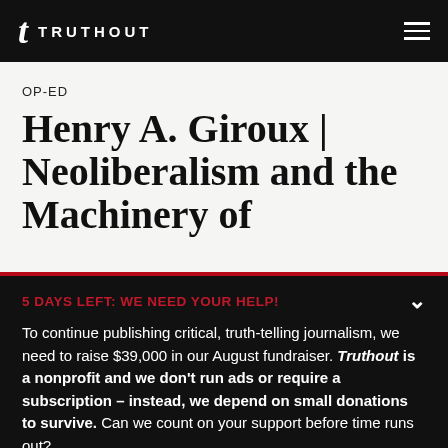TRUTHOUT
OP-ED
Henry A. Giroux | Neoliberalism and the Machinery of
5 DAYS LEFT: WE NEED YOUR HELP! To continue publishing critical, truth-telling journalism, we need to raise $39,000 in our August fundraiser. Truthout is a nonprofit and we don't run ads or require a subscription – instead, we depend on small donations to survive. Can we count on your support before time runs out?